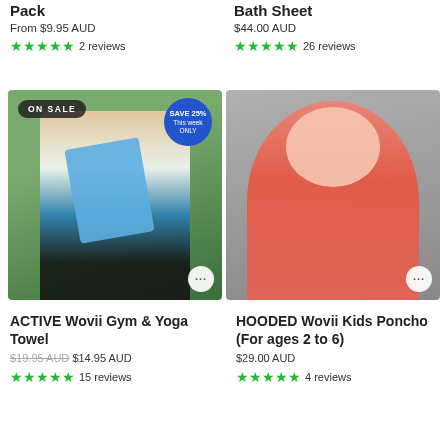Pack
Bath Sheet
From $9.95 AUD
$44.00 AUD
★★★★★ 2 reviews
★★★★★ 26 reviews
[Figure (photo): Woman in sportswear with blue gym towel over shoulder, outdoors. Badge: ON SALE. Badge: SAVE 25% This week ONLY.]
[Figure (photo): Child wearing a hooded salmon/coral poncho towel, smiling.]
ACTIVE Wovii Gym & Yoga Towel
HOODED Wovii Kids Poncho (For ages 2 to 6)
$19.95 AUD $14.95 AUD
$29.00 AUD
★★★★★ 15 reviews
★★★★★ 4 reviews